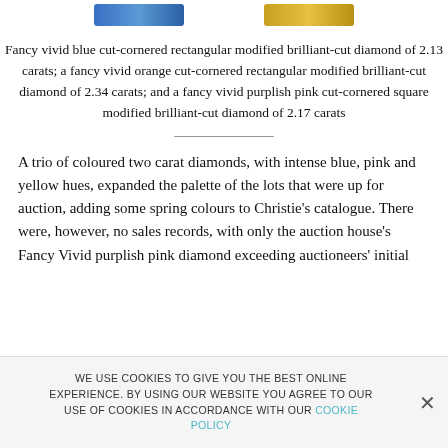[Figure (illustration): Two partially visible colored gemstone/logo images at the top of the page - one blue and one gold/orange]
Fancy vivid blue cut-cornered rectangular modified brilliant-cut diamond of 2.13 carats; a fancy vivid orange cut-cornered rectangular modified brilliant-cut diamond of 2.34 carats; and a fancy vivid purplish pink cut-cornered square modified brilliant-cut diamond of 2.17 carats
A trio of coloured two carat diamonds, with intense blue, pink and yellow hues, expanded the palette of the lots that were up for auction, adding some spring colours to Christie’s catalogue. There were, however, no sales records, with only the auction house’s Fancy Vivid purplish pink diamond exceeding auctioneers’ initial
WE USE COOKIES TO GIVE YOU THE BEST ONLINE EXPERIENCE. BY USING OUR WEBSITE YOU AGREE TO OUR USE OF COOKIES IN ACCORDANCE WITH OUR COOKIE POLICY